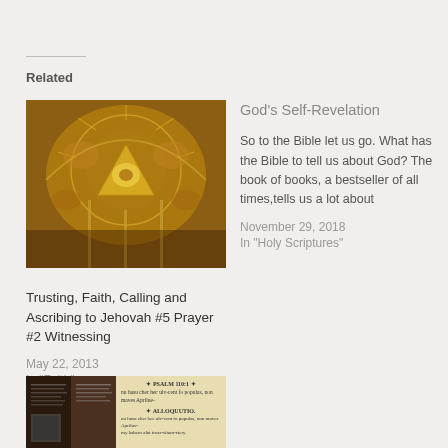Related
[Figure (photo): Ornate golden baroque artwork featuring cherubs and a triangular eye/pyramid symbol at the center, typical of religious church decor]
Trusting, Faith, Calling and Ascribing to Jehovah #5 Prayer #2 Witnessing
May 22, 2013
In "Faith"
God's Self-Revelation
So to the Bible let us go. What has the Bible to tell us about God? The book of books, a bestseller of all times,tells us a lot about
November 29, 2018
In "Holy Scriptures"
[Figure (photo): Old manuscript or Bible page showing psalm text on left side and Alloquutio text on right side with Latin script]